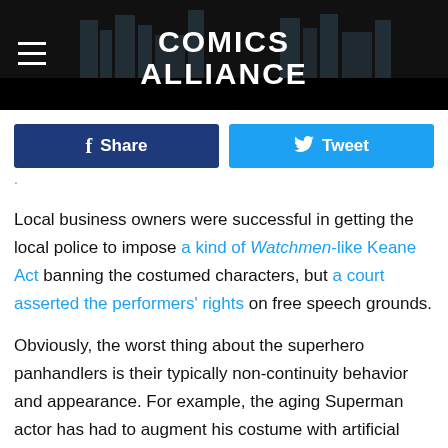[Figure (screenshot): Comics Alliance website header with black background, cityscape silhouette, and white bold 'COMICS ALLIANCE' logo text centered. Hamburger menu icon on the left.]
Share   Tweet
Local business owners were successful in getting the local police to impose a kind of Watchmen-like Keane Act banning the costumed characters, but a court asserted the performers' rights on free speech grounds.
Obviously, the worst thing about the superhero panhandlers is their typically non-continuity behavior and appearance. For example, the aging Superman actor has had to augment his costume with artificial muscle mass through which copious amounts of sweat seeps horrifically. Most depressingly, the